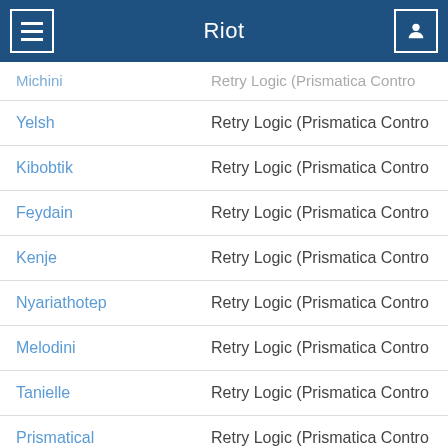Riot
| Name | Track |
| --- | --- |
| Michini | Retry Logic (Prismatica Contro |
| Yelsh | Retry Logic (Prismatica Contro |
| Kibobtik | Retry Logic (Prismatica Contro |
| Feydain | Retry Logic (Prismatica Contro |
| Kenje | Retry Logic (Prismatica Contro |
| Nyariathotep | Retry Logic (Prismatica Contro |
| Melodini | Retry Logic (Prismatica Contro |
| Tanielle | Retry Logic (Prismatica Contro |
| Prismatical | Retry Logic (Prismatica Contro |
| Earnie | RG_Gangstaparade#0324 |
| Slyph | RG_Gangstaparade#0324 |